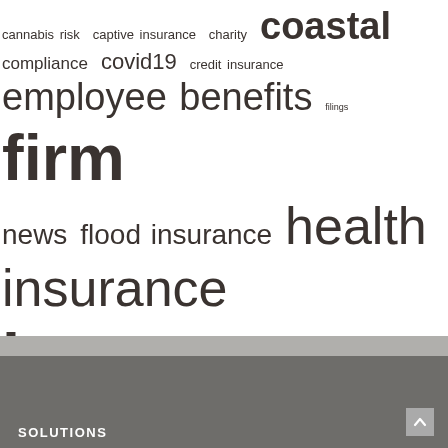[Figure (other): Tag cloud / word cloud of insurance-related topics with varying font sizes indicating frequency or importance. Terms include: cannabis risk, captive insurance, charity, coastal, compliance, covid19, credit insurance, employee benefits, filings, firm news, flood insurance, health insurance, insurance company, insurtech, liability insurance, life insurance, long term care, medical malpractice, MGA, mutual insurance, PEO, price optimization, product development, program administration, regulatory consulting, reinsurance, risk management, senior care, staff news, title insurance, workers' compensation]
SOLUTIONS